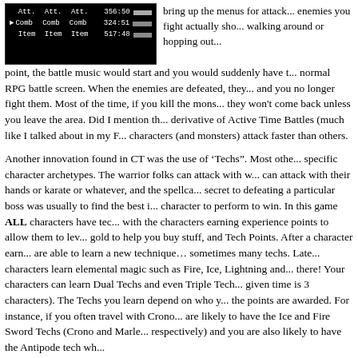[Figure (screenshot): Dark RPG battle screen showing Att., Comb, Item menu options with stats 356:50, 324:51, 517:48 and progress bars]
bring up the menus for attack... enemies you fight actually sho... walking around or hopping out... point, the battle music would start and you would suddenly have t... normal RPG battle screen. When the enemies are defeated, they... and you no longer fight them. Most of the time, if you kill the mons... they won't come back unless you leave the area. Did I mention th... derivative of Active Time Battles (much like I talked about in my F... characters (and monsters) attack faster than others.
Another innovation found in CT was the use of ‘Techs”. Most othe... specific character archetypes. The warrior folks can attack with w... can attack with their hands or karate or whatever, and the spellca... secret to defeating a particular boss was usually to find the best i... character to perform to win. In this game ALL characters have tec... with the characters earning experience points to allow them to lev... gold to help you buy stuff, and Tech Points. After a character earn... are able to learn a new technique… sometimes many techs. Late... characters learn elemental magic such as Fire, Ice, Lightning and... there! Your characters can learn Dual Techs and even Triple Tech... given time is 3 characters). The Techs you learn depend on who y... the points are awarded. For instance, if you often travel with Crono... are likely to have the Ice and Fire Sword Techs (Crono and Marle... respectively) and you are also likely to have the Antipode tech wh...